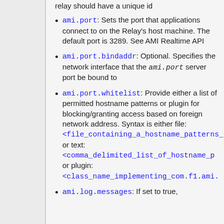relay should have a unique id
ami.port: Sets the port that applications connect to on the Relay's host machine. The default port is 3289. See AMI Realtime API
ami.port.bindaddr: Optional. Specifies the network interface that the ami.port server port be bound to
ami.port.whitelist: Provide either a list of permitted hostname patterns or plugin for blocking/granting access based on foreign network address. Syntax is either file: <file_containing_a_hostname_patterns_ or text: <comma_delimited_list_of_hostname_p or plugin: <class_name_implementing_com.f1.ami.
ami.log.messages: If set to true,